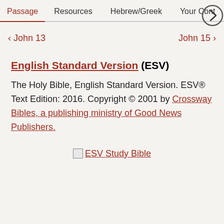Passage | Resources | Hebrew/Greek | Your Cont >
< John 13    John 15 >
English Standard Version (ESV)
The Holy Bible, English Standard Version. ESV® Text Edition: 2016. Copyright © 2001 by Crossway Bibles, a publishing ministry of Good News Publishers.
ESV Study Bible